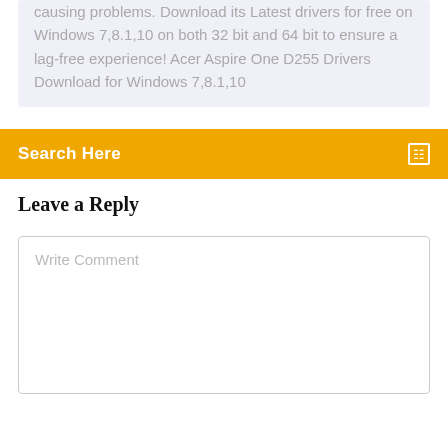causing problems. Download its Latest drivers for free on Windows 7,8.1,10 on both 32 bit and 64 bit to ensure a lag-free experience! Acer Aspire One D255 Drivers Download for Windows 7,8.1,10
Search Here
Leave a Reply
Write Comment